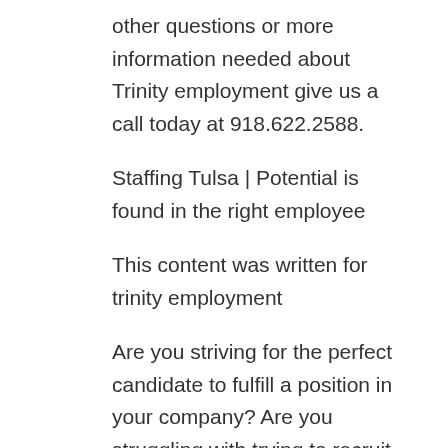other questions or more information needed about Trinity employment give us a call today at 918.622.2588.
Staffing Tulsa | Potential is found in the right employee
This content was written for trinity employment
Are you striving for the perfect candidate to fulfill a position in your company? Are you struggling with trying to recruit top talent and coming up short with mediocre people who are applying to a position that doesn't seem to fit their qualifications? Well look no further than with the specialists at Trinity